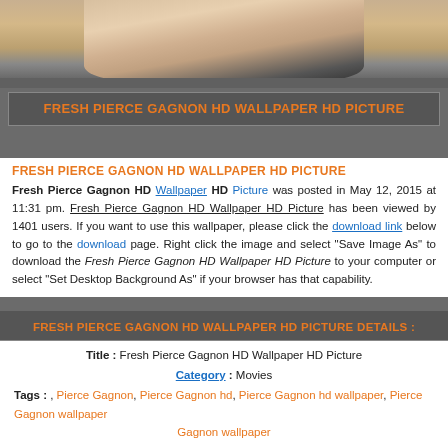[Figure (photo): Partial photo of Pierce Gagnon, a young person in a dark suit with white shirt, cropped at the top of the page]
FRESH PIERCE GAGNON HD WALLPAPER HD PICTURE
FRESH PIERCE GAGNON HD WALLPAPER HD PICTURE
Fresh Pierce Gagnon HD Wallpaper HD Picture was posted in May 12, 2015 at 11:31 pm. Fresh Pierce Gagnon HD Wallpaper HD Picture has been viewed by 1401 users. If you want to use this wallpaper, please click the download link below to go to the download page. Right click the image and select "Save Image As" to download the Fresh Pierce Gagnon HD Wallpaper HD Picture to your computer or select "Set Desktop Background As" if your browser has that capability.
FRESH PIERCE GAGNON HD WALLPAPER HD PICTURE DETAILS :
| Title : | Fresh Pierce Gagnon HD Wallpaper HD Picture |
| Category : | Movies |
| Tags : | , Pierce Gagnon, Pierce Gagnon hd, Pierce Gagnon hd wallpaper, Pierce Gagnon wallpaper |
| Posted : | May 12, 2015 at 11:31 pm |
| Viewed : | 1401 view |
| File type : | image/jpeg |